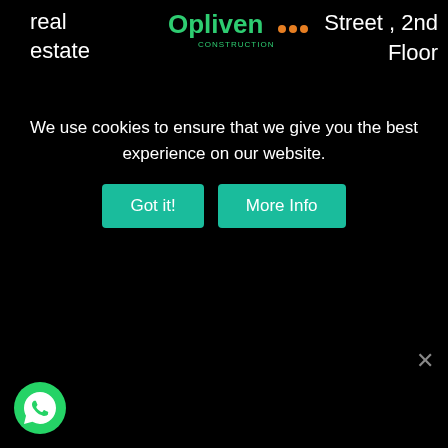real estate
[Figure (logo): Opliven Construction logo with green text and orange dots]
Street , 2nd Floor
We use cookies to ensure that we give you the best experience on our website.
[Figure (infographic): Cookie consent buttons: Got it! and More Info (teal/green background)]
[Figure (logo): WhatsApp circular green icon at bottom left]